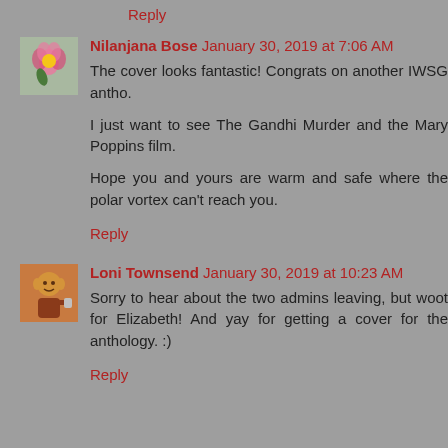Reply
Nilanjana Bose  January 30, 2019 at 7:06 AM
The cover looks fantastic! Congrats on another IWSG antho.

I just want to see The Gandhi Murder and the Mary Poppins film.

Hope you and yours are warm and safe where the polar vortex can't reach you.
Reply
Loni Townsend  January 30, 2019 at 10:23 AM
Sorry to hear about the two admins leaving, but woot for Elizabeth! And yay for getting a cover for the anthology. :)
Reply